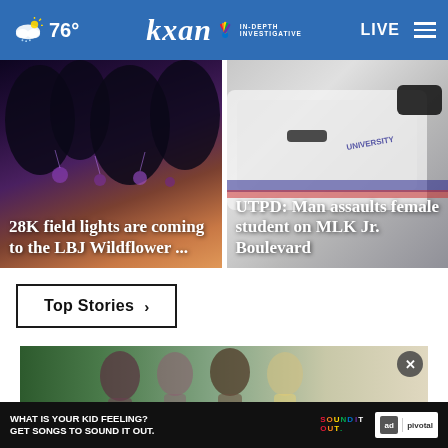76° kxan IN-DEPTH INVESTIGATIVE LIVE
[Figure (screenshot): Story card: outdoor field at dusk with purple lights, text '28K field lights are coming to the LBJ Wildflower ...']
[Figure (screenshot): Story card: police vehicle close-up, text 'UTPD: Man assaults female student on MLK Jr. Boulevard']
Top Stories ›
[Figure (photo): Women walking outdoors in a garden setting]
[Figure (advertisement): Ad banner: 'WHAT IS YOUR KID FEELING? GET SONGS TO SOUND IT OUT.' Sound It Out, Ad Council, Pivotal]